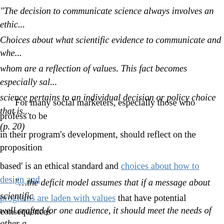"The decision to communicate science always involves an ethic... Choices about what scientific evidence to communicate and whe... whom are a reflection of values. This fact becomes especially sal... science pertains to an individual decision or policy choice that is... (p. 20)
For many social marketers, especially those who profess to be in their program's development, should reflect on the proposition based' is an ethical standard and choices about how to design and programs are laden with values that have potential consequences serve.
"…the deficit model assumes that if a message about scientific well crafted for one audience, it should meet the needs of other a... In fact, effective science communication is affected by the contex... engagement with different audiences in different places at differe...